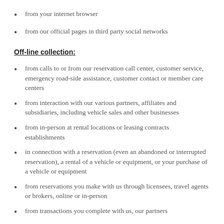from your internet browser
from our official pages in third party social networks
Off-line collection:
from calls to or from our reservation call center, customer service, emergency road-side assistance, customer contact or member care centers
from interaction with our various partners, affiliates and subsidiaries, including vehicle sales and other businesses
from in-person at rental locations or leasing contracts establishments
in connection with a reservation (even an abandoned or interrupted reservation), a rental of a vehicle or equipment, or your purchase of a vehicle or equipment
from reservations you make with us through licensees, travel agents or brokers, online or in-person
from transactions you complete with us, our partners